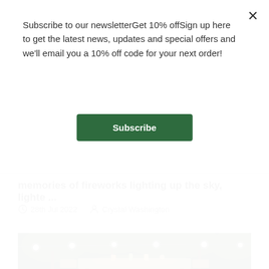Subscribe to our newsletterGet 10% offSign up here to get the latest news, updates and special offers and we'll email you a 10% off code for your next order!
Subscribe
memories of fireworks lighting up the sky, lighte ...
28th Jul 2022   Crystal Washington
[Figure (photo): Outdoor garden dining table at night with string lights hanging from trees, lush green foliage in background]